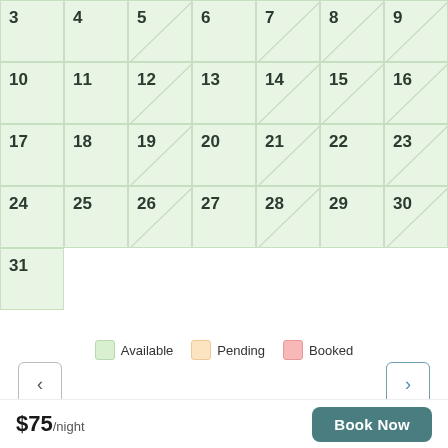[Figure (other): Booking availability calendar showing dates 3-31, with green cells indicating available days. Some cells have diagonal slash marks. A legend below shows Available (light green), Pending (light orange), Booked (light red). Navigation arrows on left and right. Price $75/night and Book Now button at bottom.]
Available   Pending   Booked
$75/night
Book Now